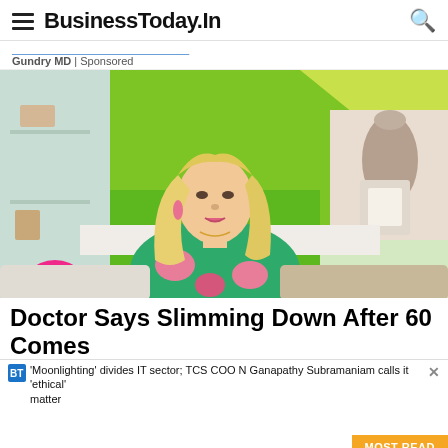BusinessToday.In
Gundry MD | Sponsored
[Figure (photo): A blonde woman in a green floral dress sitting in a TV studio set with a bright green and yellow background, shelves with a vase and lantern]
Doctor Says Slimming Down After 60 Comes
'Moonlighting' divides IT sector; TCS COO N Ganapathy Subramaniam calls it 'ethical' matter
MOST READ